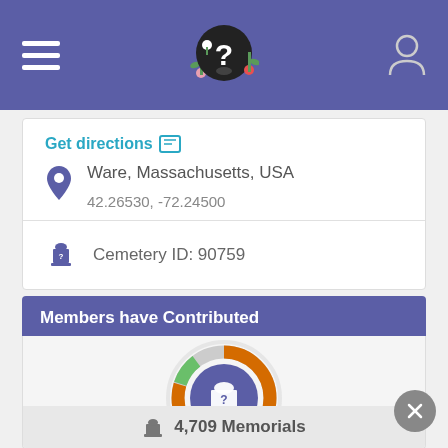FindAGrave app header
Get directions
Ware, Massachusetts, USA
42.26530, -72.24500
Cemetery ID: 90759
Members have Contributed
[Figure (donut-chart): Donut chart showing contribution progress with orange, green, and gray segments around a purple circle with a question mark gravestone icon]
4,709 Memorials